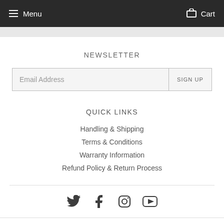Menu  Cart
NEWSLETTER
Email Address  SIGN UP
QUICK LINKS
Handling & Shipping
Terms & Conditions
Warranty Information
Refund Policy & Return Process
[Figure (infographic): Social media icons: Twitter, Facebook, Instagram, YouTube]